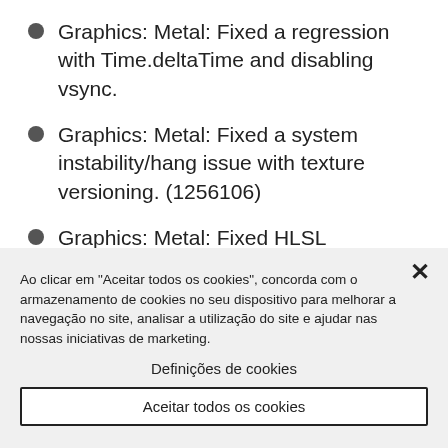Graphics: Metal: Fixed a regression with Time.deltaTime and disabling vsync.
Graphics: Metal: Fixed a system instability/hang issue with texture versioning. (1256106)
Graphics: Metal: Fixed HLSL compatibility issue with DrawProceduralIndirect. SV_InstanceID
Ao clicar em "Aceitar todos os cookies", concorda com o armazenamento de cookies no seu dispositivo para melhorar a navegação no site, analisar a utilização do site e ajudar nas nossas iniciativas de marketing.
Definições de cookies
Aceitar todos os cookies